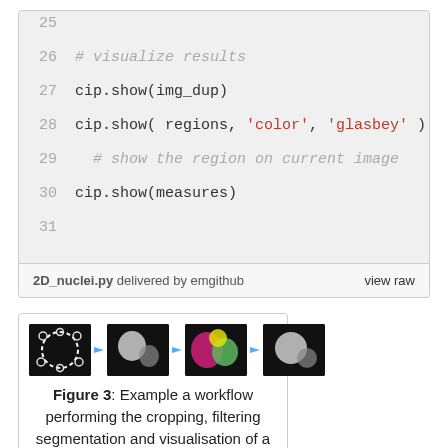[Figure (screenshot): Code block showing Python lines 25-31 with cip.show() calls and comments]
2D_nuclei.py delivered by emgithub   view raw
[Figure (illustration): Figure 3 thumbnail showing workflow images of nuclei processing pipeline]
Figure 3: Example a workflow performing the cropping, filtering segmentation and visualisation of a 2D image. Raw data: